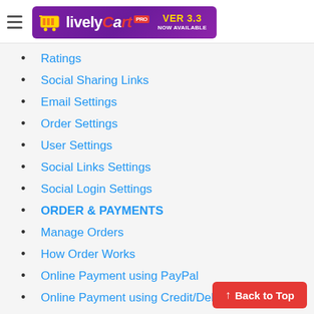[Figure (logo): LivelyCart PRO logo banner with version 3.3 now available]
Ratings
Social Sharing Links
Email Settings
Order Settings
User Settings
Social Links Settings
Social Login Settings
ORDER & PAYMENTS
Manage Orders
How Order Works
Online Payment using PayPal
Online Payment using Credit/Debit